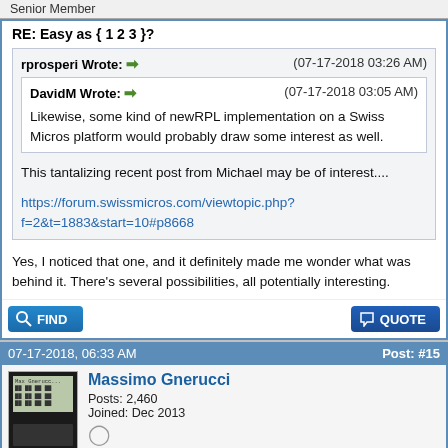Senior Member
RE: Easy as { 1 2 3 }?
rprosperi Wrote: ➡ (07-17-2018 03:26 AM)
DavidM Wrote: ➡ (07-17-2018 03:05 AM)
Likewise, some kind of newRPL implementation on a Swiss Micros platform would probably draw some interest as well.
This tantalizing recent post from Michael may be of interest....
https://forum.swissmicros.com/viewtopic.php?f=2&t=1883&start=10#p8668
Yes, I noticed that one, and it definitely made me wonder what was behind it. There's several possibilities, all potentially interesting.
FIND
QUOTE
07-17-2018, 06:33 AM   Post: #15
Massimo Gnerucci   Posts: 2,460   Joined: Dec 2013   Senior Member